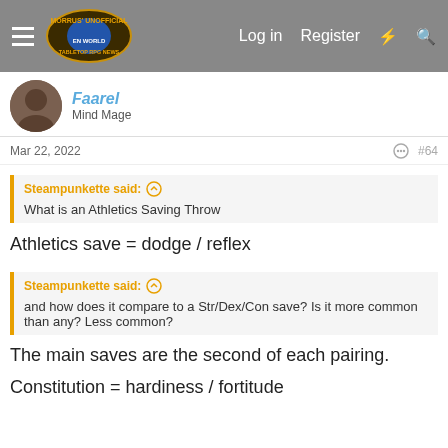Morrus' Unofficial Tabletop RPG News — Log in | Register
Faarel
Mind Mage
Mar 22, 2022  #64
Steampunkette said: ↑
What is an Athletics Saving Throw
Athletics save = dodge / reflex
Steampunkette said: ↑
and how does it compare to a Str/Dex/Con save? Is it more common than any? Less common?
The main saves are the second of each pairing.
Constitution = hardiness / fortitude